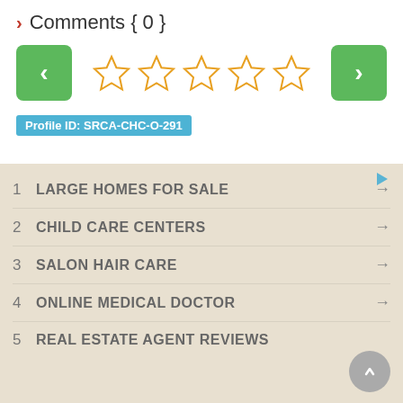> Comments { 0 }
[Figure (other): Navigation row with left arrow green button, five empty star rating icons, and right arrow green button]
Profile ID: SRCA-CHC-O-291
1  LARGE HOMES FOR SALE
2  CHILD CARE CENTERS
3  SALON HAIR CARE
4  ONLINE MEDICAL DOCTOR
5  REAL ESTATE AGENT REVIEWS